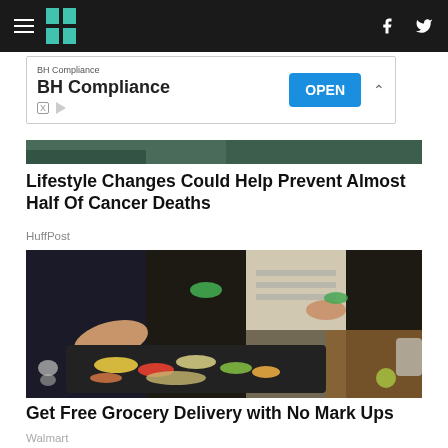HuffPost navigation bar with hamburger menu, logo, Facebook and Twitter icons
[Figure (screenshot): BH Compliance advertisement banner with OPEN button]
[Figure (photo): Partial photo of person at top of article about cancer deaths]
Lifestyle Changes Could Help Prevent Almost Half Of Cancer Deaths
HuffPost
[Figure (photo): Two people preparing vegetables on a baking tray - cooking scene]
Get Free Grocery Delivery with No Mark Ups
Walmart